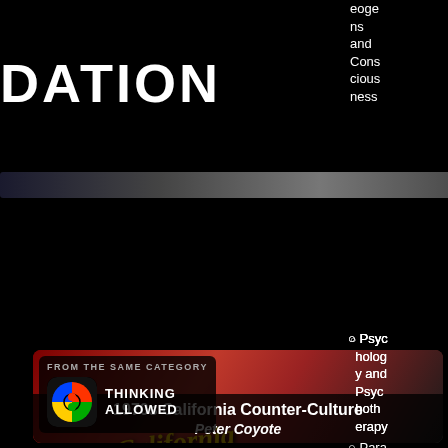DATION
eoge ns and Cons cious ness
Psyc holog y and Psyc hoth erapy
Para psyc holog y and Psyc hical Rese arch
[Figure (screenshot): Card showing '1970s California Counter-Culture' video thumbnail with red background, text overlay, man's face, and 'Thinking Allowed' logo. Label reads 'FROM THE SAME CATEGORY']
1970s California Counter-Culture
Peter Coyote